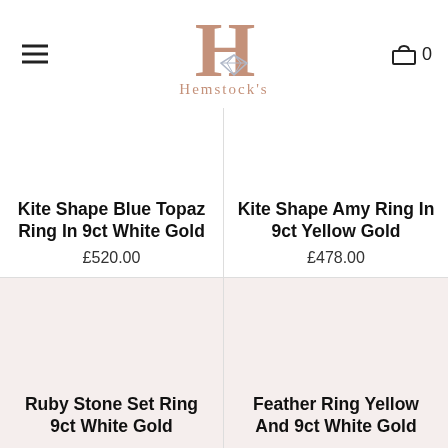[Figure (logo): Hemstock's jewellery logo with large rose-gold H letter, diamond icon, and brand name below]
Kite Shape Blue Topaz Ring In 9ct White Gold
£520.00
Kite Shape Amy Ring In 9ct Yellow Gold
£478.00
[Figure (photo): Product image placeholder for Ruby Stone Set Ring 9ct White Gold]
Ruby Stone Set Ring 9ct White Gold
[Figure (photo): Product image placeholder for Feather Ring Yellow And 9ct White Gold]
Feather Ring Yellow And 9ct White Gold